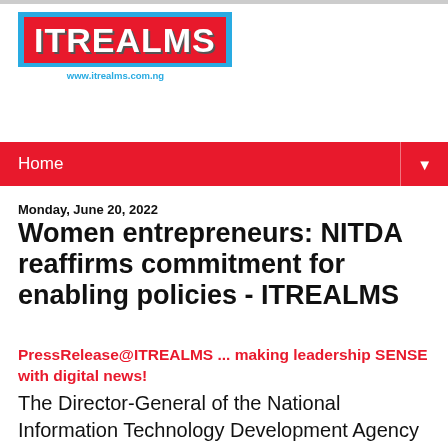[Figure (logo): ITREALMS logo with red background, blue border, and white bold text. URL www.itrealms.com.ng shown below.]
Home ▼
Monday, June 20, 2022
Women entrepreneurs: NITDA reaffirms commitment for enabling policies - ITREALMS
PressRelease@ITREALMS ... making leadership SENSE with digital news!
The Director-General of the National Information Technology Development Agency (NITDA), Kashifu Inuwa, has re...